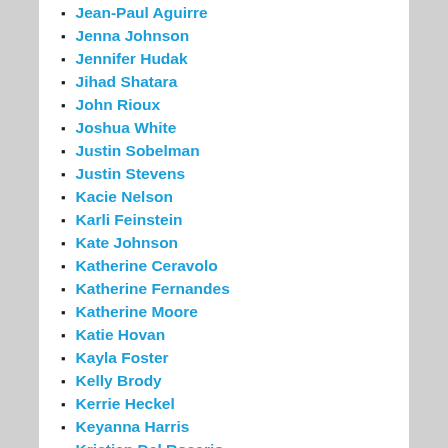Jean-Paul Aguirre
Jenna Johnson
Jennifer Hudak
Jihad Shatara
John Rioux
Joshua White
Justin Sobelman
Justin Stevens
Kacie Nelson
Karli Feinstein
Kate Johnson
Katherine Ceravolo
Katherine Fernandes
Katherine Moore
Katie Hovan
Kayla Foster
Kelly Brody
Kerrie Heckel
Keyanna Harris
Kristian Del Rosario
Kyla Thorpe
Lauren Maingot